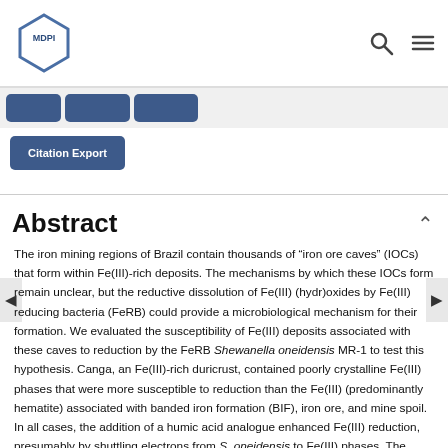[Figure (logo): MDPI hexagonal logo in the top left corner]
MDPI [search icon] [menu icon]
Citation Export
Abstract
The iron mining regions of Brazil contain thousands of “iron ore caves” (IOCs) that form within Fe(III)-rich deposits. The mechanisms by which these IOCs form remain unclear, but the reductive dissolution of Fe(III) (hydr)oxides by Fe(III) reducing bacteria (FeRB) could provide a microbiological mechanism for their formation. We evaluated the susceptibility of Fe(III) deposits associated with these caves to reduction by the FeRB Shewanella oneidensis MR-1 to test this hypothesis. Canga, an Fe(III)-rich duricrust, contained poorly crystalline Fe(III) phases that were more susceptible to reduction than the Fe(III) (predominantly hematite) associated with banded iron formation (BIF), iron ore, and mine spoil. In all cases, the addition of a humic acid analogue enhanced Fe(III) reduction, presumably by shuttling electrons from S. oneidensis to Fe(III) phases. The particle size and capacity S. oneidensis to directly contact the solid phase